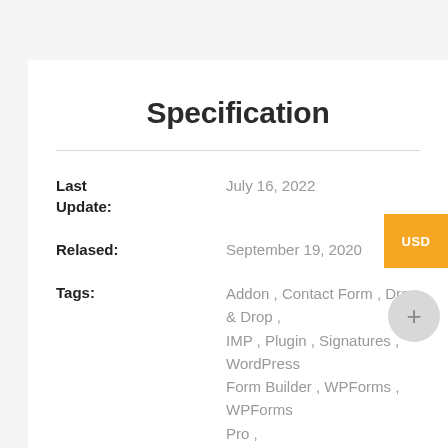Specification
| Field | Value |
| --- | --- |
| Last Update: | July 16, 2022 |
| Relased: | September 19, 2020 |
| Tags: | Addon , Contact Form , Drag & Drop , IMP , Plugin , Signatures , WordPress Form Builder , WPForms , WPForms Pro , |